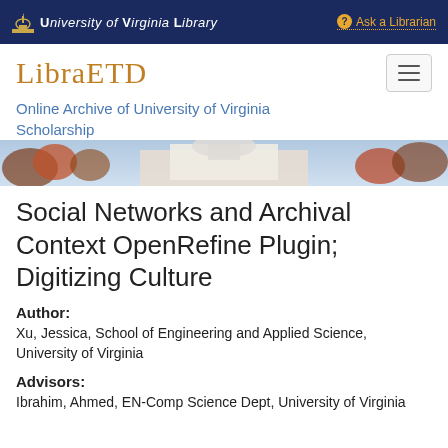University of Virginia Library  Ask a Librarian
LibraETD
Online Archive of University of Virginia Scholarship
[Figure (photo): Exterior photo of a building with trees in autumn colors]
Social Networks and Archival Context OpenRefine Plugin; Digitizing Culture
Author:
Xu, Jessica, School of Engineering and Applied Science, University of Virginia
Advisors:
Ibrahim, Ahmed, EN-Comp Science Dept, University of Virginia